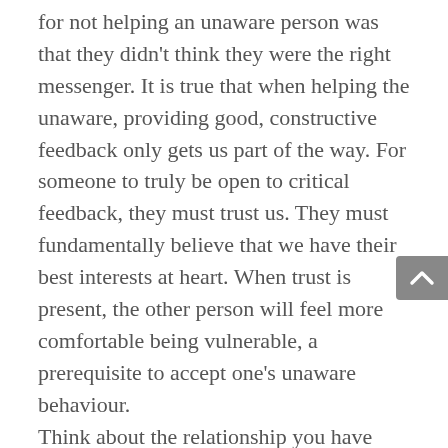for not helping an unaware person was that they didn't think they were the right messenger. It is true that when helping the unaware, providing good, constructive feedback only gets us part of the way. For someone to truly be open to critical feedback, they must trust us. They must fundamentally believe that we have their best interests at heart. When trust is present, the other person will feel more comfortable being vulnerable, a prerequisite to accept one's unaware behaviour.
Think about the relationship you have with your unaware colleague: have you gone out of your way to help or support them in the past? Are you confident they will see your feedback for what it is – a show of support to help them get better – rather than inferring a more nefarious motive? Are there others who might be better suited to deliver the feedback